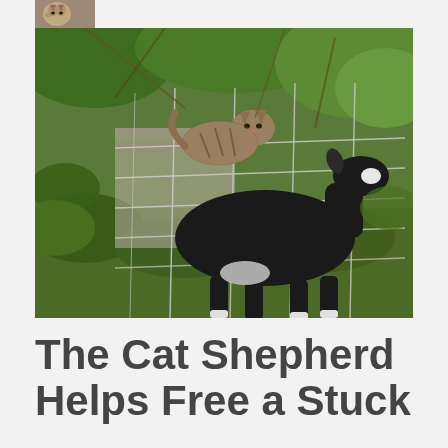[Figure (photo): Small thumbnail photo of a cat's face, partially visible at top of the page]
[Figure (photo): Outdoor photo of a black goat with white markings standing near a wire fence, with a large tabby cat perched on the fence above it, surrounded by green vegetation and branches]
The Cat Shepherd Helps Free a Stuck